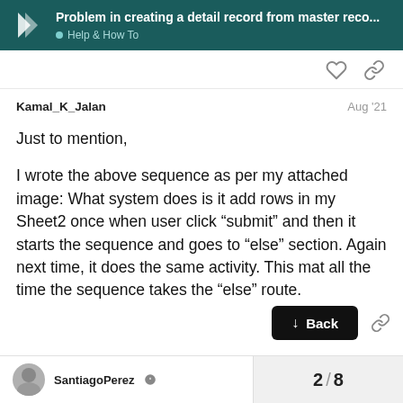Problem in creating a detail record from master reco... | Help & How To
Kamal_K_Jalan  Aug '21

Just to mention,

I wrote the above sequence as per my attached image: What system does is it add rows in my Sheet2 once when user click “submit” and then it starts the sequence and goes to “else” section. Again next time, it does the same activity. This mat all the time the sequence takes the “else” route.
2 / 8